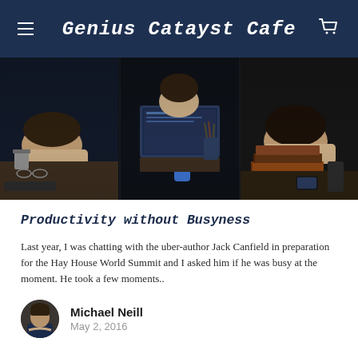Genius Catayst Cafe
[Figure (photo): People sleeping or dozing at desks with laptops, books, and study materials in a dark environment]
Productivity without Busyness
Last year, I was chatting with the uber-author Jack Canfield in preparation for the Hay House World Summit and I asked him if he was busy at the moment. He took a few moments..
Michael Neill
May 2, 2016